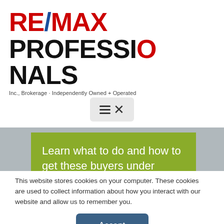[Figure (logo): RE/MAX PROFESSIONALS Inc., Brokerage - Independently Owned + Operated logo]
[Figure (screenshot): Hamburger/close menu button icon on a light grey background]
Learn what to do and how to get these buyers under contract and closed.
This website stores cookies on your computer. These cookies are used to collect information about how you interact with our website and allow us to remember you.
Accept